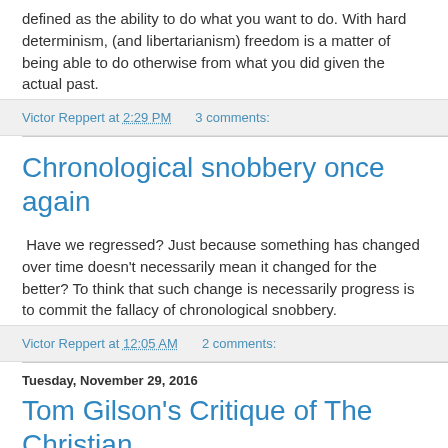defined as the ability to do what you want to do. With hard determinism, (and libertarianism) freedom is a matter of being able to do otherwise from what you did given the actual past.
Victor Reppert at 2:29 PM    3 comments:
Chronological snobbery once again
Have we regressed? Just because something has changed over time doesn't necessarily mean it changed for the better? To think that such change is necessarily progress is to commit the fallacy of chronological snobbery.
Victor Reppert at 12:05 AM    2 comments:
Tuesday, November 29, 2016
Tom Gilson's Critique of The Christian